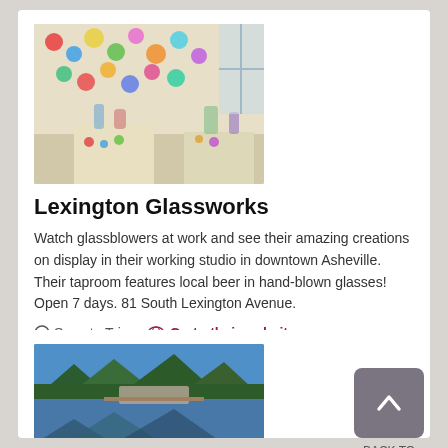[Figure (photo): Interior of Lexington Glassworks studio showing colorful blown glass spheres hanging on wall and glass art pieces on display tables]
Lexington Glassworks
Watch glassblowers at work and see their amazing creations on display in their working studio in downtown Asheville. Their taproom features local beer in hand-blown glasses! Open 7 days. 81 South Lexington Avenue.
Save to Trip   Go to their website.
[Figure (photo): Outdoor venue with people gathered near a reflective pond surrounded by trees and mountains in the background]